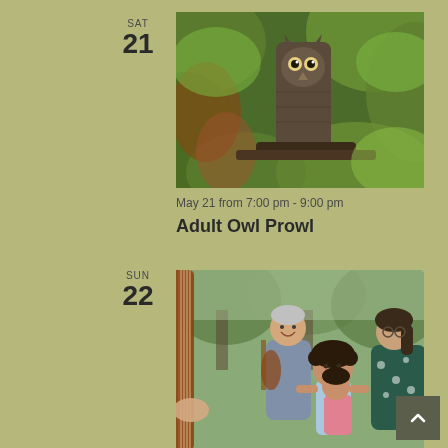SAT
21
[Figure (photo): A screech owl camouflaged among green leaves on a tree branch]
May 21 from 7:00 pm - 9:00 pm
Adult Owl Prowl
SUN
22
[Figure (photo): People outdoors with a child playing or touching a large stringed instrument (double bass/harp), with adults watching and trees in background]